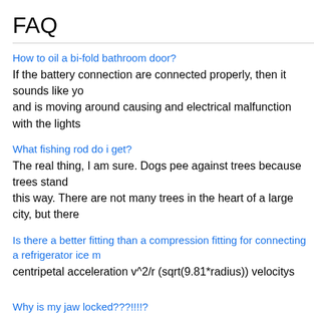FAQ
How to oil a bi-fold bathroom door?
If the battery connection are connected properly, then it sounds like yo and is moving around causing and electrical malfunction with the lights
What fishing rod do i get?
The real thing, I am sure. Dogs pee against trees because trees stand this way. There are not many trees in the heart of a large city, but there
Is there a better fitting than a compression fitting for connecting a refrigerator ice m
centripetal acceleration v^2/r (sqrt(9.81*radius)) velocitys
Why is my jaw locked???!!!!?
They have pits which are essentially eyes for infrared. The pedia articl
how is the fire extinguisher operated?
House of Commons and scare the f*ckers sh*tless.s